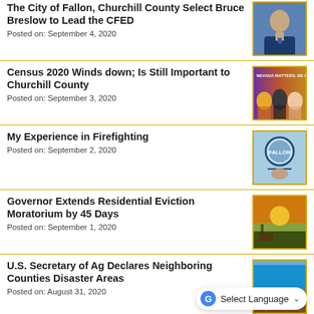The City of Fallon, Churchill County Select Bruce Breslow to Lead the CFED
Posted on: September 4, 2020
[Figure (photo): Headshot of a man in a suit and tie]
Census 2020 Winds down; Is Still Important to Churchill County
Posted on: September 3, 2020
[Figure (photo): Nevada Matters, Be Counted census promotion with three diverse people]
My Experience in Firefighting
Posted on: September 2, 2020
[Figure (photo): Firefighter badge/seal with person below]
Governor Extends Residential Eviction Moratorium by 45 Days
Posted on: September 1, 2020
[Figure (photo): Sunset over a rural field with barn]
U.S. Secretary of Ag Declares Neighboring Counties Disaster Areas
Posted on: August 31, 2020
[Figure (photo): Dry desert/drought landscape under blue sky]